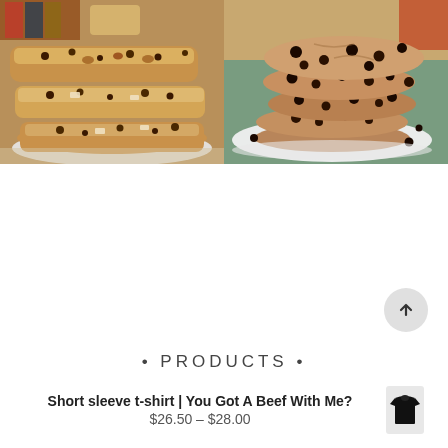[Figure (photo): Stack of three biscotti cookies with chocolate chips and nuts on a white plate, with books and a jar in the background]
[Figure (photo): Stack of chocolate chip cookies on a white plate with teal cloth in background, chocolate chips scattered around]
• PRODUCTS •
Short sleeve t-shirt | You Got A Beef With Me?
$26.50 – $28.00